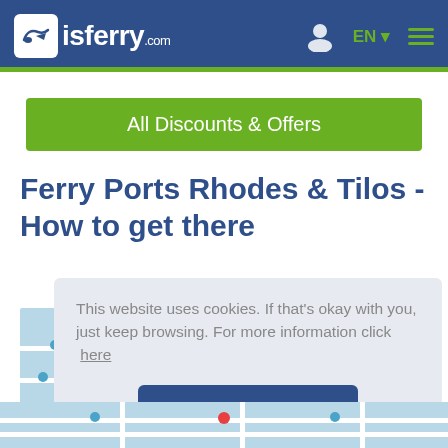isferry.com
All Discounts & Offers
Ferry Ports Rhodes & Tilos - How to get there
[Figure (map): Partial map showing ferry port locations for Rhodes area]
This website uses cookies. If that's okay with you, just keep browsing. For more information click  here
Got it!
[Figure (map): Bottom strip of map showing ferry port locations]